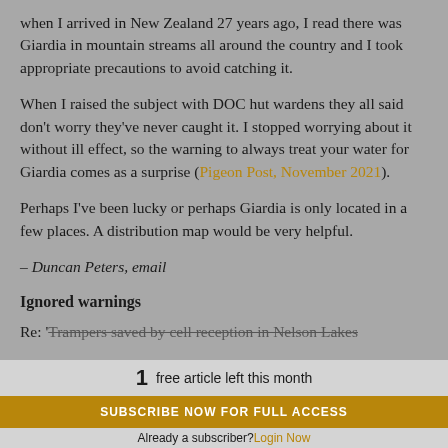when I arrived in New Zealand 27 years ago, I read there was Giardia in mountain streams all around the country and I took appropriate precautions to avoid catching it.
When I raised the subject with DOC hut wardens they all said don't worry they've never caught it. I stopped worrying about it without ill effect, so the warning to always treat your water for Giardia comes as a surprise (Pigeon Post, November 2021).
Perhaps I've been lucky or perhaps Giardia is only located in a few places. A distribution map would be very helpful.
– Duncan Peters, email
Ignored warnings
Re: 'Trampers saved by cell reception in Nelson Lakes
1 free article left this month
SUBSCRIBE NOW FOR FULL ACCESS
Already a subscriber? Login Now